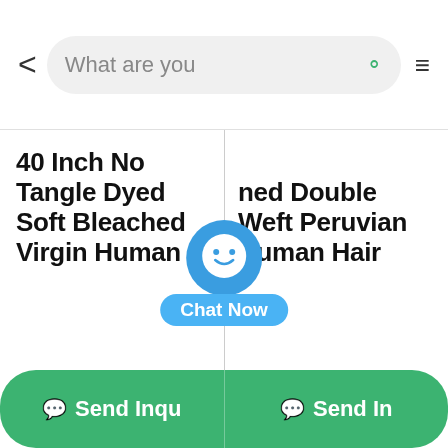< What are you [looking for...] [search icon] [menu icon]
40 Inch No Tangle Dyed Soft Bleached Virgin Human
[partially visible] ...ned Double Weft Peruvian Human Hair
[Figure (illustration): Chat Now floating button overlay — blue circular icon with smiley face and 'Chat Now' label in light blue pill shape]
Send Inqu[iry]
Send In[quiry]